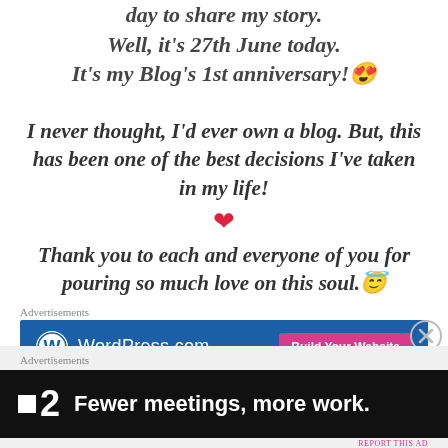day to share my story. Well, it's 27th June today. It's my Blog's 1st anniversary! 😊
I never thought, I'd ever own a blog. But, this has been one of the best decisions I've taken in my life!
♥
Thank you to each and everyone of you for pouring so much love on this soul. 😇
Advertisements
[Figure (screenshot): WordPress.com advertisement banner with blue background, WordPress logo, and 'Build Your Website' pink button]
REPORT THIS AD
Advertisements
[Figure (screenshot): Fewer meetings, more work. advertisement banner with dark background and logo showing a square and number 2]